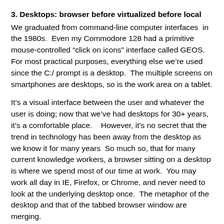3. Desktops: browser before virtualized before local
We graduated from command-line computer interfaces  in the 1980s.  Even my Commodore 128 had a primitive mouse-controlled “click on icons” interface called GEOS.  For most practical purposes, everything else we’re used since the C:/ prompt is a desktop.  The multiple screens on smartphones are desktops, so is the work area on a tablet.
It’s a visual interface between the user and whatever the user is doing; now that we’ve had desktops for 30+ years, it’s a comfortable place.    However, it’s no secret that the trend in technology has been away from the desktop as we know it for many years  So much so, that for many current knowledge workers, a browser sitting on a desktop is where we spend most of our time at work.  You may work all day in IE, Firefox, or Chrome, and never need to look at the underlying desktop once.  The metaphor of the desktop and that of the tabbed browser window are merging.
Many of your needs can already be met in a browser, without a desktop at all: e-mail, several business applications,  and most